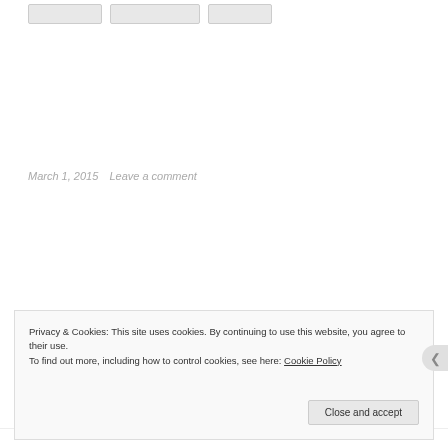[button row placeholder]
March 1, 2015   Leave a comment
Privacy & Cookies: This site uses cookies. By continuing to use this website, you agree to their use.
To find out more, including how to control cookies, see here: Cookie Policy
Close and accept